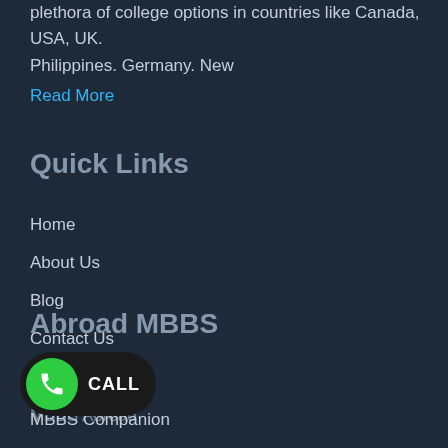plethora of college options in countries like Canada, USA, UK. Philippines. Germany. New
Read More
Quick Links
Home
About Us
Blog
Contact Us
Abroad MBBS
Masters Abroad
MBBS Abroad
MBBS Companion
[Figure (other): Green phone call button with CALL label on dark background]